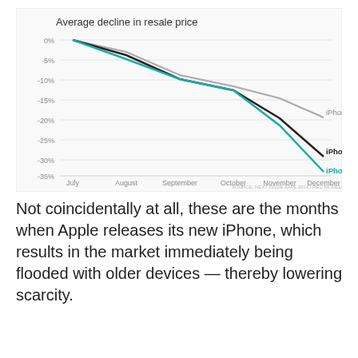[Figure (line-chart): Average decline in resale price]
Not coincidentally at all, these are the months when Apple releases its new iPhone, which results in the market immediately being flooded with older devices — thereby lowering scarcity.